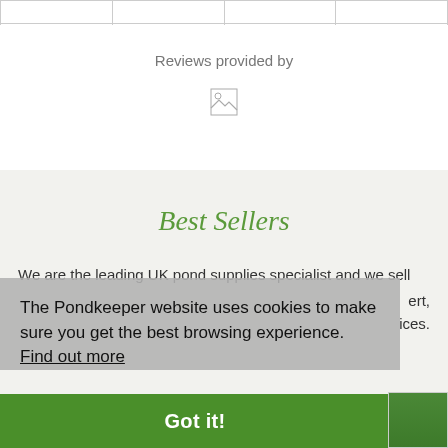|   |   |   |   |
Reviews provided by
[Figure (photo): Broken image placeholder icon]
Best Sellers
We are the leading UK pond supplies specialist and we sell
ert,
ices.
The Pondkeeper website uses cookies to make sure you get the best browsing experience.  Find out more
Got it!